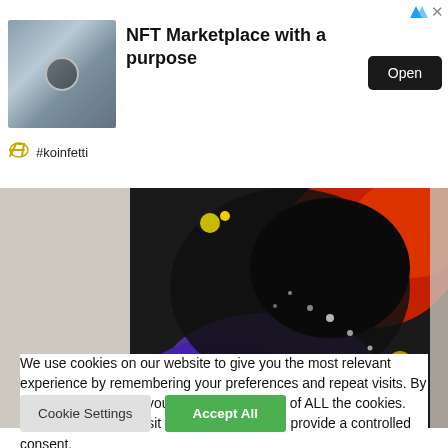[Figure (screenshot): Ad banner for NFT Marketplace with a purpose (koinfetti), showing thumbnail image and Open button]
NFT Marketplace with a purpose
#koinfetti
[Figure (photo): Abstract splatter painting with black, red, purple, yellow and white paint on canvas]
We use cookies on our website to give you the most relevant experience by remembering your preferences and repeat visits. By clicking "Accept All", you consent to the use of ALL the cookies. However, you may visit "Cookie Settings" to provide a controlled consent.
Cookie Settings
Accept All